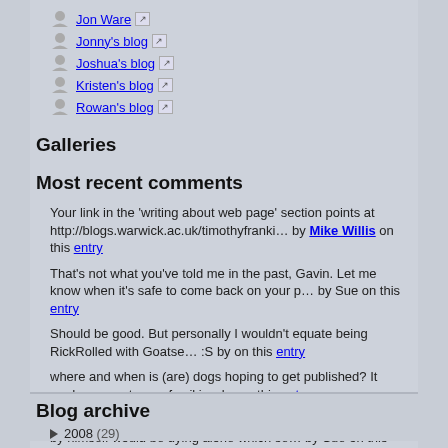Jon Ware ↗
Jonny's blog ↗
Joshua's blog ↗
Kristen's blog ↗
Rowan's blog ↗
Galleries
Most recent comments
Your link in the 'writing about web page' section points at http://blogs.warwick.ac.uk/timothyfranki... by Mike Willis on this entry
That's not what you've told me in the past, Gavin. Let me know when it's safe to come back on your p... by Sue on this entry
Should be good. But personally I wouldn't equate being RickRolled with Goatse... :S by on this entry
where and when is (are) dogs hoping to get published? It made me cry tears of evil joy. by on this entry
My first thought when reading this was that the man who was by himself would be dying alone which se... by Sue on this entry
Blog archive
▶ 2008 (29)